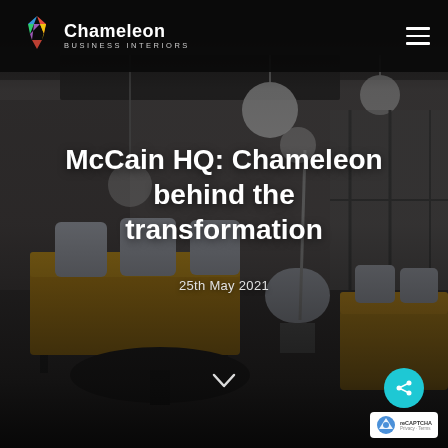[Figure (photo): Hero image of a modern office interior with dark overlay. Shows a lounge area with amber/mustard yellow sofas, grey cushions, pendant globe lights hanging from ceiling, and glass partition walls. 3D render/visualization of a contemporary workspace.]
Chameleon Business Interiors
McCain HQ: Chameleon behind the transformation
25th May 2021